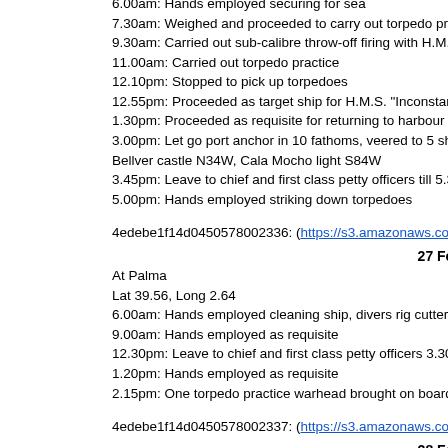6.00am: Hands employed securing for sea
7.30am: Weighed and proceeded to carry out torpedo practice and su
9.30am: Carried out sub-calibre throw-off firing with H.M.S. "Inconstan
11.00am: Carried out torpedo practice
12.10pm: Stopped to pick up torpedoes
12.55pm: Proceeded as target ship for H.M.S. "Inconstant's" torpedo p
1.30pm: Proceeded as requisite for returning to harbour
3.00pm: Let go port anchor in 10 fathoms, veered to 5 shackles. Anch
Bellver castle N34W, Cala Mocho light S84W
3.45pm: Leave to chief and first class petty officers till 5.30pm
5.00pm: Hands employed striking down torpedoes
4edebe1f14d0450578002336: (https://s3.amazonaws.com:443/oldwea
27 February 1920
At Palma
Lat 39.56, Long 2.64
6.00am: Hands employed cleaning ship, divers rig cutter for diving
9.00am: Hands employed as requisite
12.30pm: Leave to chief and first class petty officers 3.30pm till 6pm
1.20pm: Hands employed as requisite
2.15pm: One torpedo practice warhead brought on board for H.M.S. "V
4edebe1f14d0450578002337: (https://s3.amazonaws.com:443/oldwea
28 February 1920
At Palma
Lat 39.56, Long 2.64
6.00am: Hands employed cleaning ship
8.35am: Divisions. Air night clothing. Hands employed cleaning ship